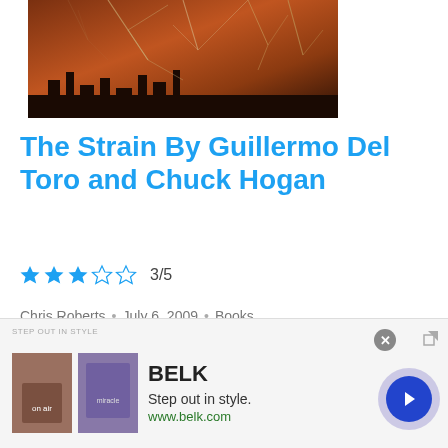[Figure (photo): Dark atmospheric image with silhouetted bare tree branches against an orange-brown smoky sky, with a city skyline faintly visible at the bottom]
The Strain By Guillermo Del Toro and Chuck Hogan
3/5 (star rating)
Chris Roberts • July 6, 2009 • Books
The first book in a planned trilogy
"The Strain" marks the literary...
[Figure (screenshot): Advertisement for BELK department store: 'Step out in style. www.belk.com' with two product images and a navigation arrow button]